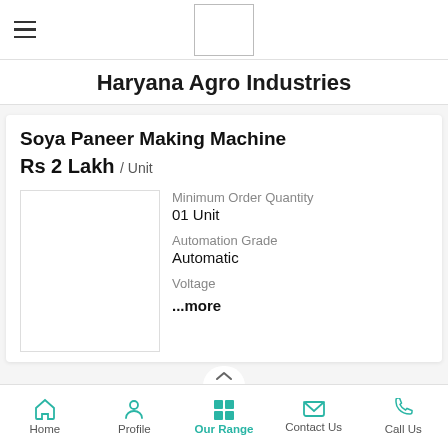[Figure (logo): Haryana Agro Industries logo placeholder box]
Haryana Agro Industries
Soya Paneer Making Machine
Rs 2 Lakh / Unit
[Figure (photo): Product image placeholder]
Minimum Order Quantity
01 Unit
Automation Grade
Automatic
Voltage
...more
Home  Profile  Our Range  Contact Us  Call Us